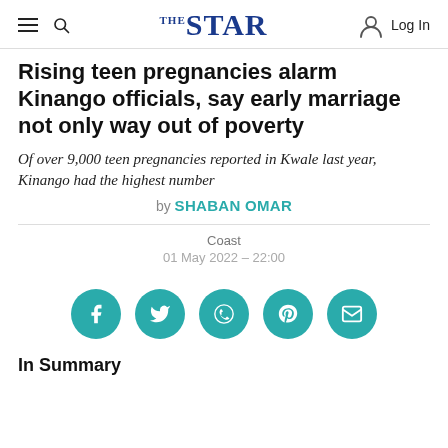THE STAR | Log In
Rising teen pregnancies alarm Kinango officials, say early marriage not only way out of poverty
Of over 9,000 teen pregnancies reported in Kwale last year, Kinango had the highest number
by SHABAN OMAR
Coast
01 May 2022 – 22:00
[Figure (other): Social share buttons: Facebook, Twitter, WhatsApp, Pinterest, Email]
In Summary